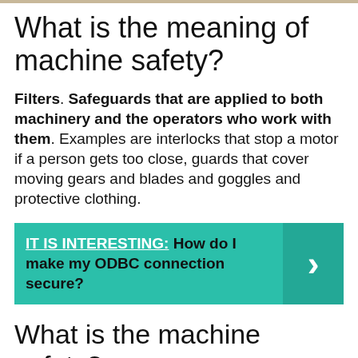What is the meaning of machine safety?
Filters. Safeguards that are applied to both machinery and the operators who work with them. Examples are interlocks that stop a motor if a person gets too close, guards that cover moving gears and blades and goggles and protective clothing.
[Figure (infographic): Teal callout box with text: IT IS INTERESTING: How do I make my ODBC connection secure? with a right-arrow chevron on the right side.]
What is the machine safety?
Safeguards are essential to protect workers from injuries. As a machine operator, function...